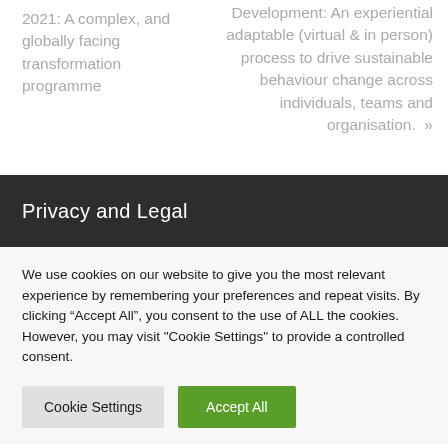2021: A complex, and globally facing transformation programme
Development: An experiential adaptable (virtual & in person) process to drive sustainable behaviour change across individuals, teams and organisation. »
Privacy and Legal
We use cookies on our website to give you the most relevant experience by remembering your preferences and repeat visits. By clicking "Accept All", you consent to the use of ALL the cookies. However, you may visit "Cookie Settings" to provide a controlled consent.